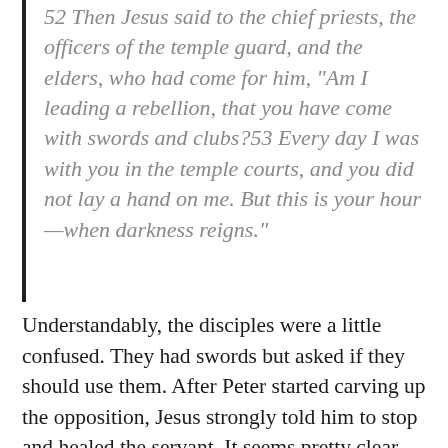52 Then Jesus said to the chief priests, the officers of the temple guard, and the elders, who had come for him, “Am I leading a rebellion, that you have come with swords and clubs?53 Every day I was with you in the temple courts, and you did not lay a hand on me. But this is your hour—when darkness reigns.”
Understandably, the disciples were a little confused. They had swords but asked if they should use them. After Peter started carving up the opposition, Jesus strongly told him to stop and healed the servant. It seems pretty clear that Jesus had another thing in mind for the